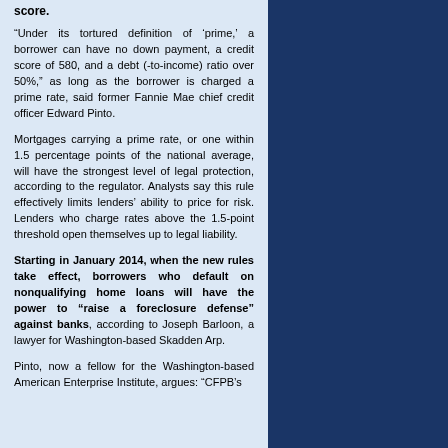score.
“Under its tortured definition of ‘prime,’ a borrower can have no down payment, a credit score of 580, and a debt (-to-income) ratio over 50%,” as long as the borrower is charged a prime rate, said former Fannie Mae chief credit officer Edward Pinto.
Mortgages carrying a prime rate, or one within 1.5 percentage points of the national average, will have the strongest level of legal protection, according to the regulator. Analysts say this rule effectively limits lenders’ ability to price for risk. Lenders who charge rates above the 1.5-point threshold open themselves up to legal liability.
Starting in January 2014, when the new rules take effect, borrowers who default on nonqualifying home loans will have the power to “raise a foreclosure defense” against banks, according to Joseph Barloon, a lawyer for Washington-based Skadden Arp.
Pinto, now a fellow for the Washington-based American Enterprise Institute, argues: “CFPB’s